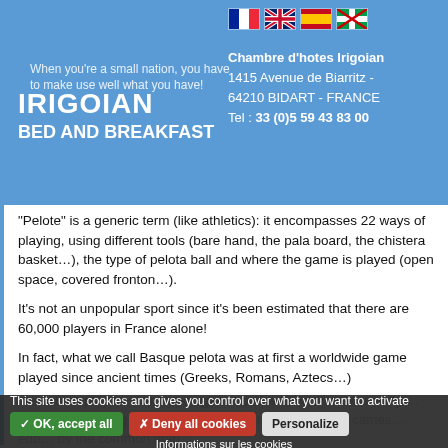IRIGOIAN BED AND BREAKFAST | Chambre d'hotes Irigoian, 1415 Avenue de Biarritz - 64210 BIDART - FRANCE | Tel : 33 (0)5 59 43 83 00
"Pelote" is a generic term (like athletics): it encompasses 22 ways of playing, using different tools (bare hand, the pala board, the chistera basket…), the type of pelota ball and where the game is played (open space, covered fronton…).
It's not an unpopular sport since it's been estimated that there are 60,000 players in France alone!
In fact, what we call Basque pelota was at first a worldwide game played since ancient times (Greeks, Romans, Aztecs…) in which players competed against one another. It was usually …bare handed (long and short palm) with nobility using …cames… edb… by the common man.
This site uses cookies and gives you control over what you want to activate